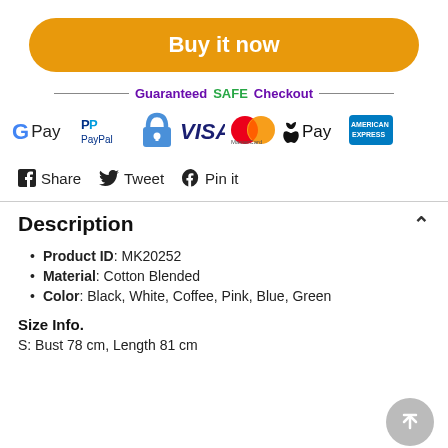Buy it now
[Figure (infographic): Guaranteed SAFE Checkout badge with payment method logos: Google Pay, PayPal, secure lock badge, VISA, MasterCard, Apple Pay, American Express]
Share  Tweet  Pin it
Description
Product ID: MK20252
Material: Cotton Blended
Color: Black, White, Coffee, Pink, Blue, Green
Size Info.
S: Bust 78 cm, Length 81 cm